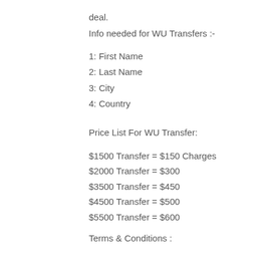deal.
Info needed for WU Transfers :-
1: First Name
2: Last Name
3: City
4: Country
Price List For WU Transfer:
$1500 Transfer = $150 Charges
$2000 Transfer = $300
$3500 Transfer = $450
$4500 Transfer = $500
$5500 Transfer = $600
Terms & Conditions :